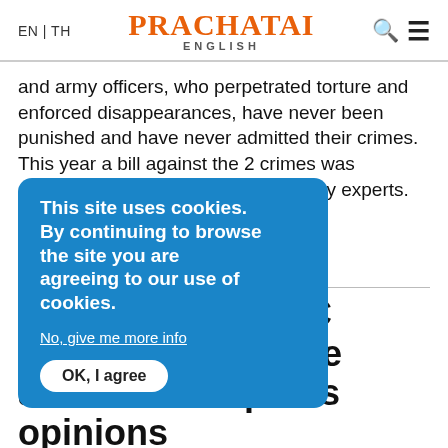EN | TH  PRACHATAI ENGLISH
and army officers, who perpetrated torture and enforced disappearances, have never been punished and have never admitted their crimes. This year a bill against the 2 crimes was completed which has been praised by experts. However, under the military junta re[…]to human rights, one m[…]he bill really being passed i[…]
This site uses cookies. By continuing to browse the site you are agreeing to our use of cookies.
No, give me more info
OK, I agree
M[…] activist in C[…]ing people allowed to express opinions